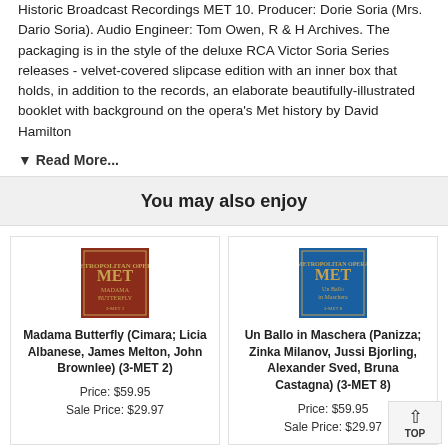Historic Broadcast Recordings MET 10. Producer: Dorie Soria (Mrs. Dario Soria). Audio Engineer: Tom Owen, R & H Archives. The packaging is in the style of the deluxe RCA Victor Soria Series releases - velvet-covered slipcase edition with an inner box that holds, in addition to the records, an elaborate beautifully-illustrated booklet with background on the opera's Met history by David Hamilton
▼ Read More...
You may also enjoy
[Figure (photo): Album cover for Madama Butterfly MET recording - dark red/brown cover with gold MET text]
Madama Butterfly (Cimara; Licia Albanese, James Melton, John Brownlee) (3-MET 2)
Price: $59.95
Sale Price: $29.97
[Figure (photo): Album cover for Un Ballo in Maschera MET recording - blue cover with gold MET text]
Un Ballo in Maschera (Panizza; Zinka Milanov, Jussi Bjorling, Alexander Sved, Bruna Castagna) (3-MET 8)
Price: $59.95
Sale Price: $29.97